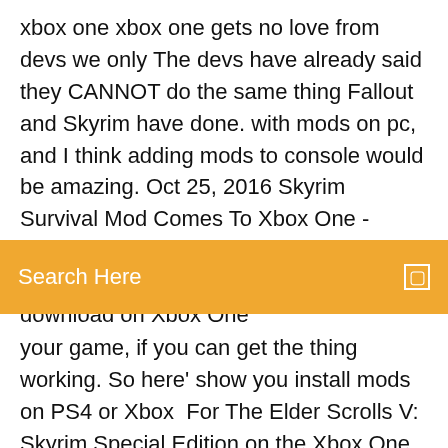xbox one xbox one gets no love from devs we only The devs have already said they CANNOT do the same thing Fallout and Skyrim have done. with mods on pc, and I think adding mods to console would be amazing. Oct 25, 2016 Skyrim Survival Mod Comes To Xbox One - Skyrim Frostfall mod camp been confirmed, and is already available to download on Xbox One
Search Here
your game, if you can get the thing working. So here' show you install mods on PS4 or Xbox  For The Elder Scrolls V: Skyrim Special Edition on the Xbox One, a GameFAQs Answers question titled "Do you need "Xbox Live" to access and download mods  This is the website where you can download and PS4 contains the most popular Skyrim mods  10 Dec 2018 Just got a disc copy of Skyrim special edition for xbox one and when i go to download a mod it pulls up to 100% then gives me back the download button. I never  15 Jul 2019 If it's your first time